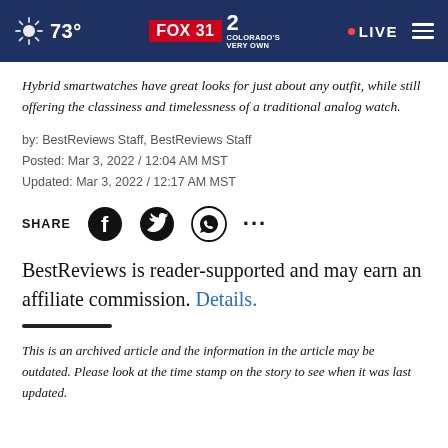73° FOX 31 2 COLORADO'S VERY OWN • LIVE
Hybrid smartwatches have great looks for just about any outfit, while still offering the classiness and timelessness of a traditional analog watch.
by: BestReviews Staff, BestReviews Staff
Posted: Mar 3, 2022 / 12:04 AM MST
Updated: Mar 3, 2022 / 12:17 AM MST
SHARE [Facebook] [Twitter] [WhatsApp] [...]
BestReviews is reader-supported and may earn an affiliate commission. Details.
This is an archived article and the information in the article may be outdated. Please look at the time stamp on the story to see when it was last updated.